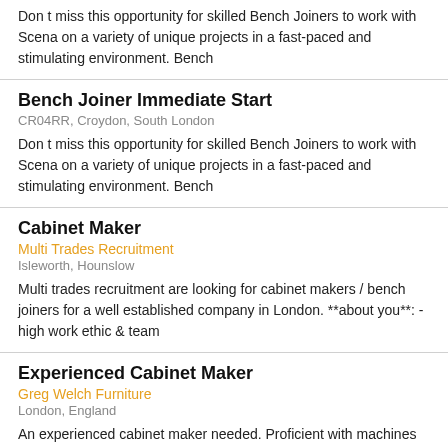Don t miss this opportunity for skilled Bench Joiners to work with Scena on a variety of unique projects in a fast-paced and stimulating environment. Bench
Bench Joiner Immediate Start
CR04RR, Croydon, South London
Don t miss this opportunity for skilled Bench Joiners to work with Scena on a variety of unique projects in a fast-paced and stimulating environment. Bench
Cabinet Maker
Multi Trades Recruitment
Isleworth, Hounslow
Multi trades recruitment are looking for cabinet makers / bench joiners for a well established company in London. **about you**: - high work ethic & team
Experienced Cabinet Maker
Greg Welch Furniture
London, England
An experienced cabinet maker needed. Proficient with machines including panel saw edgebander spindle moulder. Planer thicknesser. Motivated while
Senior Cabinet Maker
Grovescourt